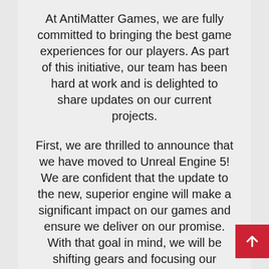At AntiMatter Games, we are fully committed to bringing the best game experiences for our players. As part of this initiative, our team has been hard at work and is delighted to share updates on our current projects.
First, we are thrilled to announce that we have moved to Unreal Engine 5! We are confident that the update to the new, superior engine will make a significant impact on our games and ensure we deliver on our promise. With that goal in mind, we will be shifting gears and focusing our development efforts on ensuring we create the best game experience for 161: Origins. The game has received overwhelming support from our community thus far, and we